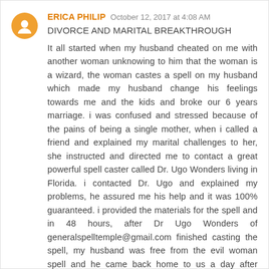ERICA PHILIP  October 12, 2017 at 4:08 AM
DIVORCE AND MARITAL BREAKTHROUGH
It all started when my husband cheated on me with another woman unknowing to him that the woman is a wizard, the woman castes a spell on my husband which made my husband change his feelings towards me and the kids and broke our 6 years marriage. i was confused and stressed because of the pains of being a single mother, when i called a friend and explained my marital challenges to her, she instructed and directed me to contact a great powerful spell caster called Dr. Ugo Wonders living in Florida. i contacted Dr. Ugo and explained my problems, he assured me his help and it was 100% guaranteed. i provided the materials for the spell and in 48 hours, after Dr Ugo Wonders of generalspelltemple@gmail.com finished casting the spell, my husband was free from the evil woman spell and he came back home to us a day after begging us to forgive him. i was so